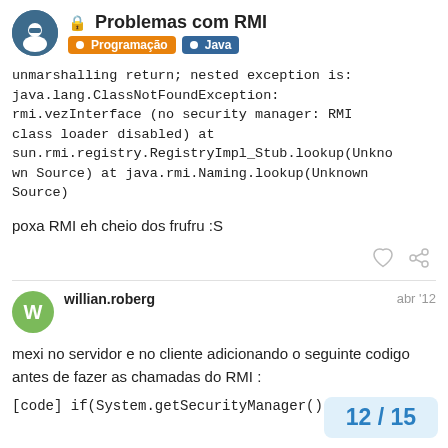Problemas com RMI | Programação | Java
unmarshalling return; nested exception is: java.lang.ClassNotFoundException: rmi.vezInterface (no security manager: RMI class loader disabled) at sun.rmi.registry.RegistryImpl_Stub.lookup(Unknown Source) at java.rmi.Naming.lookup(Unknown Source)
poxa RMI eh cheio dos frufru :S
willian.roberg  abr '12
mexi no servidor e no cliente adicionando o seguinte codigo antes de fazer as chamadas do RMI :
[code] if(System.getSecurityManager() ==